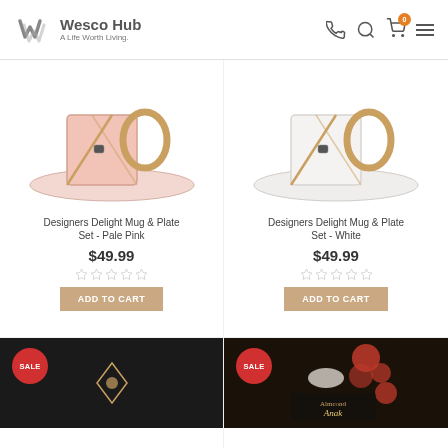Wesco Hub — A Life Worth Living.
[Figure (photo): Designers Delight Mug & Plate Set - Pale Pink product photo]
Designers Delight Mug & Plate Set - Pale Pink
$49.99
[Figure (photo): Designers Delight Mug & Plate Set - White product photo]
Designers Delight Mug & Plate Set - White
$49.99
[Figure (photo): Sale product - dark box with gold accent, bottom left]
[Figure (photo): Sale product - floral printed box, bottom right]